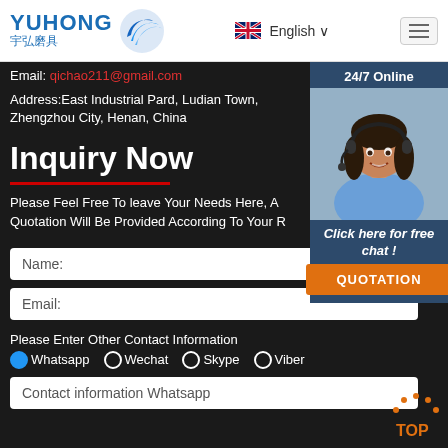[Figure (logo): Yuhong logo with Chinese characters 宇弘磨具 and blue wave icon]
English
Email: qichao211@gmail.com
Address:East Industrial Pard, Ludian Town, Zhengzhou City, Henan, China
Inquiry Now
Please Feel Free To leave Your Needs Here, A Quotation Will Be Provided According To Your R
Name:
Email:
Please Enter Other Contact Information
Whatsapp  Wechat  Skype  Viber
Contact information Whatsapp
24/7 Online
[Figure (photo): Customer service representative woman with headset smiling]
Click here for free chat !
QUOTATION